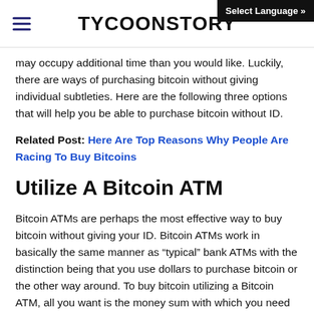TYCOONSTORY | Select Language »
may occupy additional time than you would like. Luckily, there are ways of purchasing bitcoin without giving individual subtleties. Here are the following three options that will help you be able to purchase bitcoin without ID.
Related Post: Here Are Top Reasons Why People Are Racing To Buy Bitcoins
Utilize A Bitcoin ATM
Bitcoin ATMs are perhaps the most effective way to buy bitcoin without giving your ID. Bitcoin ATMs work in basically the same manner as “typical” bank ATMs with the distinction being that you use dollars to purchase bitcoin or the other way around. To buy bitcoin utilizing a Bitcoin ATM, all you want is the money sum with which you need to